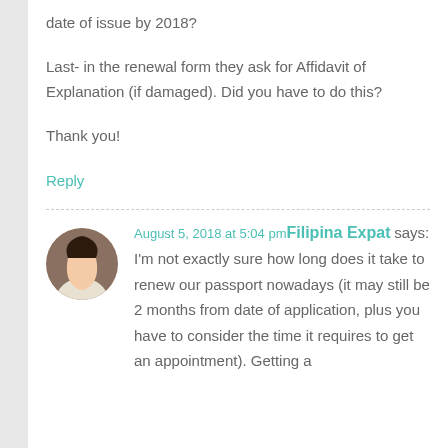date of issue by 2018?
Last- in the renewal form they ask for Affidavit of Explanation (if damaged). Did you have to do this?
Thank you!
Reply
August 5, 2018 at 5:04 pm Filipina Expat says:
I'm not exactly sure how long does it take to renew our passport nowadays (it may still be 2 months from date of application, plus you have to consider the time it requires to get an appointment). Getting a